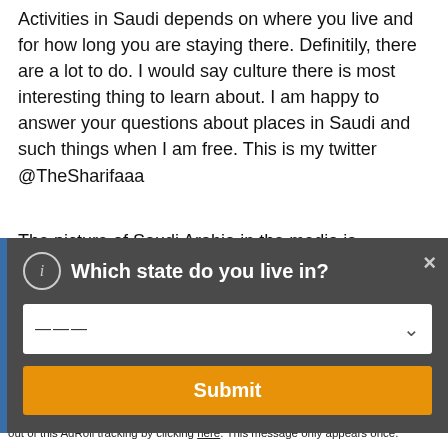Activities in Saudi depends on where you live and for how long you are staying there. Definitily, there are a lot to do. I would say culture there is most interesting thing to learn about. I am happy to answer your questions about places in Saudi and such things when I am free. This is my twitter @TheSharifaaa
The picture of Saudi Arabia in the media is distorted
[Figure (screenshot): A modal dialog overlay on a dark gray background asking 'Which state do you live in?' with a dropdown selector showing '———' and a chevron, and an orange Submit button. A blue vertical bar is on the left edge. A close (×) button is in the top right.]
Accept and Close ×
Your browser settings do not allow cross-site tracking for advertising. Click on this page to allow AdRoll to use cross-site tracking to tailor ads to you. Learn more or opt out of this AdRoll tracking by clicking here. This message only appears once.